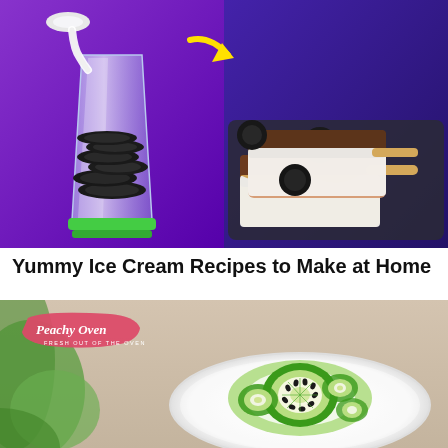[Figure (photo): Two-panel food photo. Left panel: blender glass filled with Oreo cookies with milk being poured in, purple background. Right panel: chocolate-dipped Oreo ice cream bars on a dark slate plate, purple background with a yellow arrow pointing from left to right.]
Yummy Ice Cream Recipes to Make at Home
[Figure (photo): Kiwi fruit ice cream or jelly dessert on a white plate with kiwi slices arranged on top, green leafy background. Pink brushstroke logo reading 'Peachy Oven - FRESH OUT OF THE OVEN' in top left corner.]